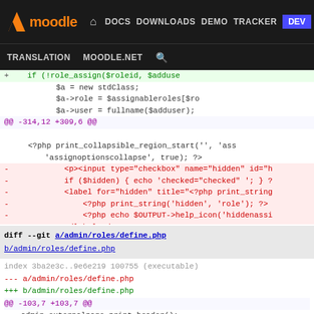moodle DOCS DOWNLOADS DEMO TRACKER DEV | TRANSLATION MOODLE.NET [search]
[Figure (screenshot): Moodle developer site navigation bar with logo, nav links (DOCS, DOWNLOADS, DEMO, TRACKER, DEV highlighted in blue), and secondary nav (TRANSLATION, MOODLE.NET, search icon)]
Code diff view showing PHP file changes with hunk headers, removed lines (red), added lines (green), and context lines
@@ -314,12 +309,6 @@
    <?php print_collapsible_region_start('', 'ass
            'assignoptionscollapse', true); ?>
-              <p><input type="checkbox" name="hidden" id="h
-              if ($hidden) { echo 'checked="checked" '; } ?
-              <label for="hidden" title="<?php print_string
-                  <?php print_string('hidden', 'role'); ?>
-                  <?php echo $OUTPUT->help_icon('hiddenassi
-              </label></p>
    <p><label for="extendperiod"><?php print_str
    <?php echo html_writer::select($periodmenu, '
diff --git a/admin/roles/define.php b/admin/roles/define.php
index 3ba2e3c..9e6e219 100755 (executable)
--- a/admin/roles/define.php
+++ b/admin/roles/define.php
@@ -103,7 +103,7 @@
    admin_externalpage_print_header();